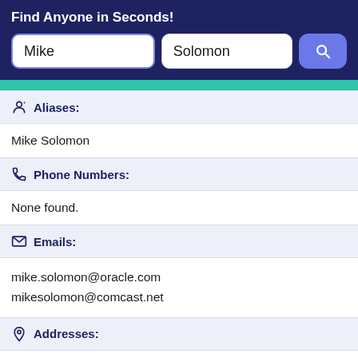Find Anyone in Seconds!
Aliases:
Mike Solomon
Phone Numbers:
None found.
Emails:
mike.solomon@oracle.com
mikesolomon@comcast.net
Addresses:
Atlanta, Georgia, United States
Record Overview:
There are 1 Addresses for this record, 0 phone